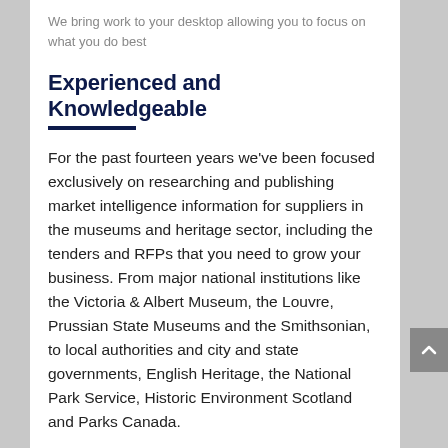We bring work to your desktop allowing you to focus on what you do best
Experienced and Knowledgeable
For the past fourteen years we’ve been focused exclusively on researching and publishing market intelligence information for suppliers in the museums and heritage sector, including the tenders and RFPs that you need to grow your business. From major national institutions like the Victoria & Albert Museum, the Louvre, Prussian State Museums and the Smithsonian, to local authorities and city and state governments, English Heritage, the National Park Service, Historic Environment Scotland and Parks Canada.
£3.5 Billion ($4.2 Billion) Last Year